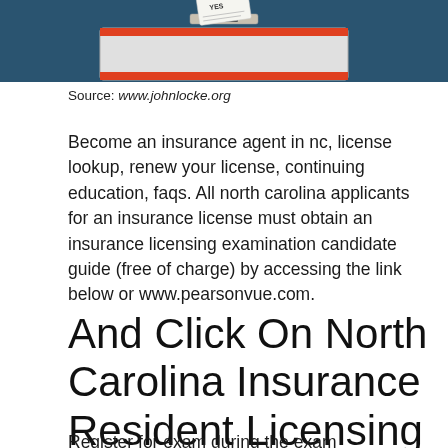[Figure (photo): Photo of a ballot box with a ballot card being inserted, red and orange box against a dark blue background]
Source: www.johnlocke.org
Become an insurance agent in nc, license lookup, renew your license, continuing education, faqs. All north carolina applicants for an insurance license must obtain an insurance licensing examination candidate guide (free of charge) by accessing the link below or www.pearsonvue.com.
And Click On North Carolina Insurance Resident Licensing Fees.
Register for exam during the exam preparation...